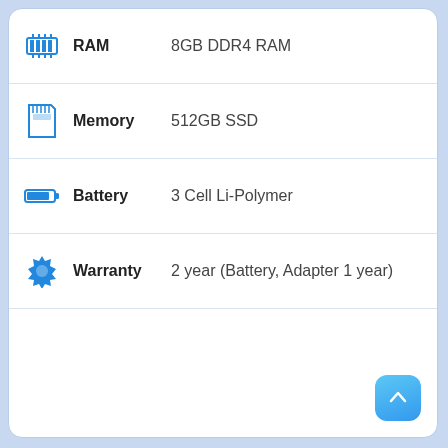RAM: 8GB DDR4 RAM
Memory: 512GB SSD
Battery: 3 Cell Li-Polymer
Warranty: 2 year (Battery, Adapter 1 year)